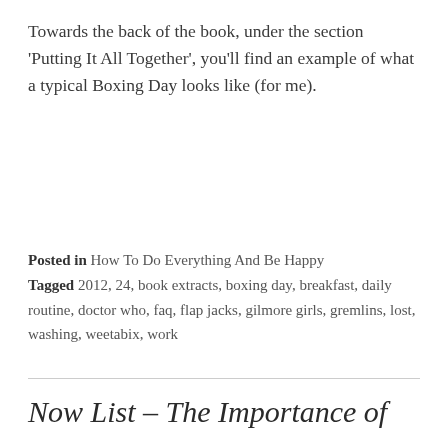Towards the back of the book, under the section 'Putting It All Together', you'll find an example of what a typical Boxing Day looks like (for me).
Posted in How To Do Everything And Be Happy
Tagged 2012, 24, book extracts, boxing day, breakfast, daily routine, doctor who, faq, flap jacks, gilmore girls, gremlins, lost, washing, weetabix, work
Now List – The Importance of